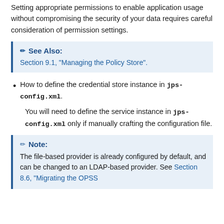Setting appropriate permissions to enable application usage without compromising the security of your data requires careful consideration of permission settings.
See Also:
Section 9.1, "Managing the Policy Store".
How to define the credential store instance in jps-config.xml.
You will need to define the service instance in jps-config.xml only if manually crafting the configuration file.
Note:
The file-based provider is already configured by default, and can be changed to an LDAP-based provider. See Section 8.6, "Migrating the OPSS..."